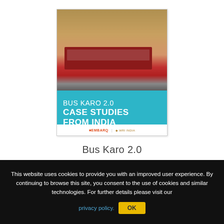[Figure (photo): Book cover of 'Bus Karo 2.0 Case Studies From India' showing a red double-decker bus in front of an ornate building, with a teal banner at the bottom displaying the title in white text, and EMBARQ / WRI India logos at the bottom.]
Bus Karo 2.0
This website uses cookies to provide you with an improved user experience. By continuing to browse this site, you consent to the use of cookies and similar technologies. For further details please visit our privacy policy.